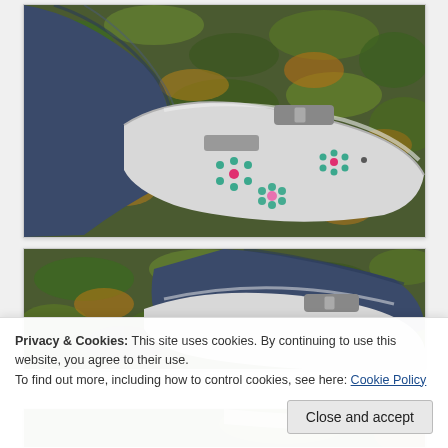[Figure (photo): Close-up photo of a person's foot wearing a white orthopedic boot with colorful floral rhinestone decorations, standing on a green and gold leaf-patterned carpet. The person is wearing blue jeans.]
[Figure (photo): Second photo of similar foot in white orthopedic boot partially visible at bottom of frame, same carpet background.]
[Figure (photo): Third partial photo of foot in white orthopedic boot, barely visible at very bottom of page.]
Privacy & Cookies: This site uses cookies. By continuing to use this website, you agree to their use.
To find out more, including how to control cookies, see here: Cookie Policy
Close and accept